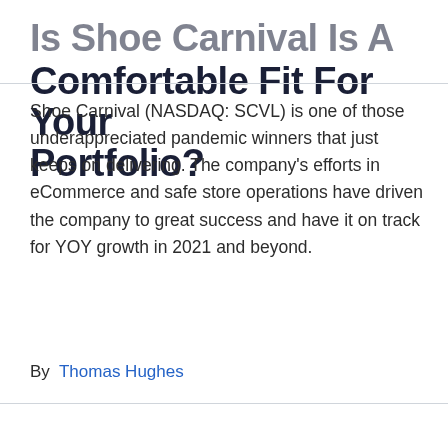Is Shoe Carnival Is A Comfortable Fit For Your Portfolio?
Shoe Carnival (NASDAQ: SCVL) is one of those underappreciated pandemic winners that just keeps on delivering. The company's efforts in eCommerce and safe store operations have driven the company to great success and have it on track for YOY growth in 2021 and beyond.
By  Thomas Hughes